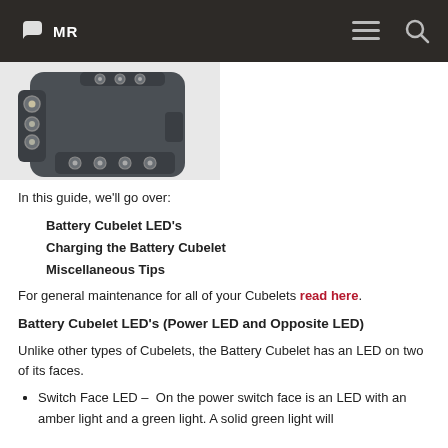MR
[Figure (photo): A Battery Cubelet device shown from the bottom/side angle, dark grey color with multiple circular connectors and LED lights visible on a white background.]
In this guide, we'll go over:
1. Battery Cubelet LED's
2. Charging the Battery Cubelet
3. Miscellaneous Tips
For general maintenance for all of your Cubelets read here.
Battery Cubelet LED's (Power LED and Opposite LED)
Unlike other types of Cubelets, the Battery Cubelet has an LED on two of its faces.
Switch Face LED – On the power switch face is an LED with an amber light and a green light. A solid green light will